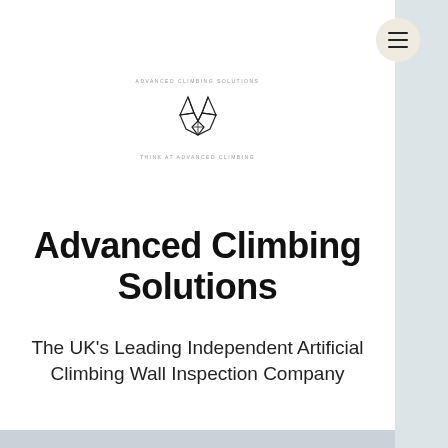[Figure (logo): Advanced Climbing Solutions geometric fox/origami logo with small text above and below]
Advanced Climbing Solutions
The UK's Leading Independent Artificial Climbing Wall Inspection Company